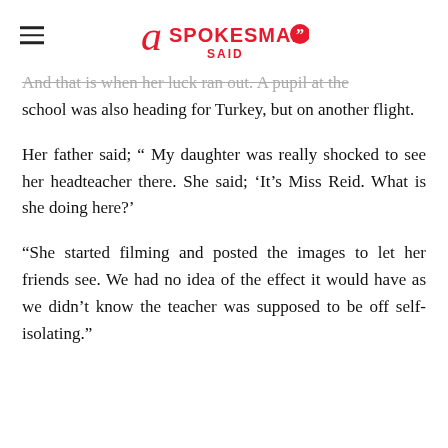A Spokesman Said
And that is when her luck ran out. A pupil at the school was also heading for Turkey, but on another flight.
Her father said; “ My daughter was really shocked to see her headteacher there. She said; ‘It’s Miss Reid. What is she doing here?’
“She started filming and posted the images to let her friends see. We had no idea of the effect it would have as we didn’t know the teacher was supposed to be off self-isolating.”